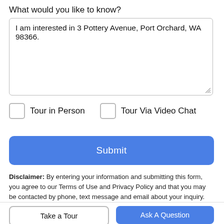What would you like to know?
I am interested in 3 Pottery Avenue, Port Orchard, WA 98366.
Tour in Person
Tour Via Video Chat
Submit
Disclaimer: By entering your information and submitting this form, you agree to our Terms of Use and Privacy Policy and that you may be contacted by phone, text message and email about your inquiry.
Take a Tour
Ask A Question